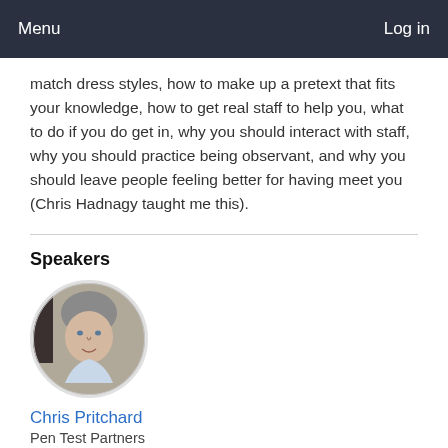Menu  Log in
match dress styles, how to make up a pretext that fits your knowledge, how to get real staff to help you, what to do if you do get in, why you should interact with staff, why you should practice being observant, and why you should leave people feeling better for having meet you (Chris Hadnagy taught me this).
Speakers
[Figure (photo): Circular portrait photo of Chris Pritchard, a middle-aged man with grey hair, wearing a light-coloured shirt.]
Chris Pritchard
Pen Test Partners
Chris has worked in a range of